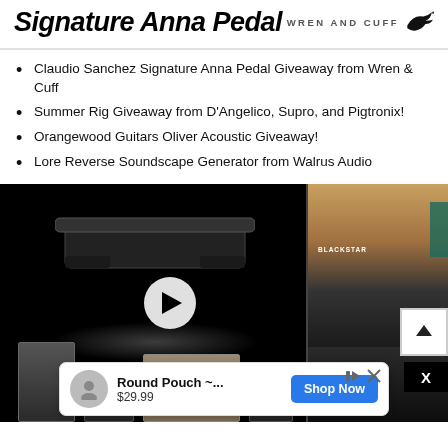[Figure (other): Header banner showing 'Signature Anna Pedal' title and Wren and Cuff brand logo with bird icon]
Claudio Sanchez Signature Anna Pedal Giveaway from Wren & Cuff
Summer Rig Giveaway from D'Angelico, Supro, and Pigtronix!
Orangewood Guitars Oliver Acoustic Giveaway!
Lore Reverse Soundscape Generator from Walrus Audio
[Figure (screenshot): Video player thumbnail showing a black guitar pedal product with play button overlay, speaker cabinets at bottom, and an amplifier on the right side. Scroll-up button and X close button visible at bottom right.]
[Figure (other): Advertisement banner: Round Pouch ~... $29.99 with Shop Now button]